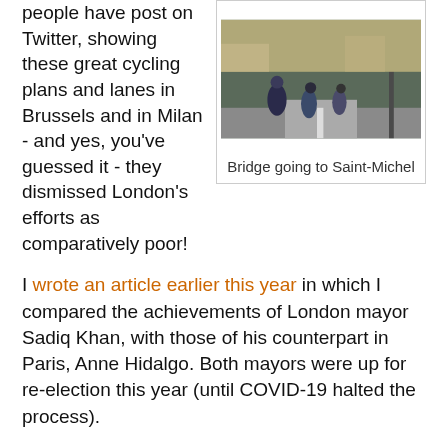people have post on Twitter, showing these great cycling plans and lanes in Brussels and in Milan - and yes, you've guessed it - they dismissed London's efforts as comparatively poor!
[Figure (photo): Cyclists riding on a bridge in Paris, with a street lamp and cars visible in the background.]
Bridge going to Saint-Michel
I wrote an article earlier this year in which I compared the achievements of London mayor Sadiq Khan, with those of his counterpart in Paris, Anne Hidalgo. Both mayors were up for re-election this year (until COVID-19 halted the process).
Where Khan had realised around 90% of his plans for London, Hidalgo had only achieved 60%. Yet people began to rave about her plans to make Paris a 100% cycling city by 2024 with every street in Paris being cycle friendly. I am always sceptical about politicians announcing ambitious plans for the future - especially when they have fallen short with their pledges in the current manifesto. (Where have I